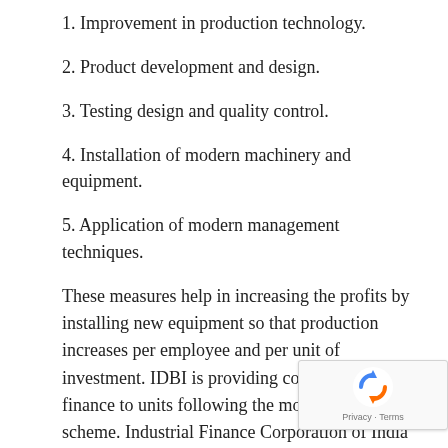1. Improvement in production technology.
2. Product development and design.
3. Testing design and quality control.
4. Installation of modern machinery and equipment.
5. Application of modern management techniques.
These measures help in increasing the profits by installing new equipment so that production increases per employee and per unit of investment. IDBI is providing concessional finance to units following the modernisation scheme. Industrial Finance Corporation of India also operates a scheme of subsidy for encouraging modernisation of tiny, small scale and ancillary units.
Technical Upgradation:
Here, technology upgradation means the induction of commercially proven advanced technology leading to significant